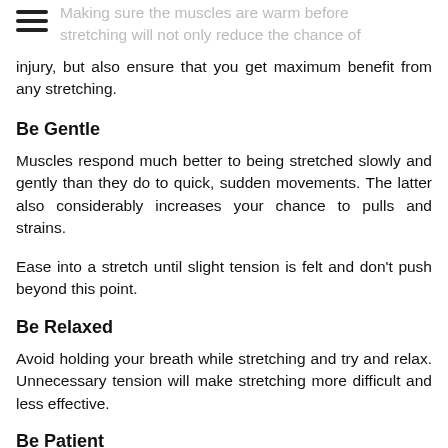Making sure the muscles are warm before stretching will not only reduce the chance of injury, but also ensure that you get maximum benefit from any stretching.
injury, but also ensure that you get maximum benefit from any stretching.
Be Gentle
Muscles respond much better to being stretched slowly and gently than they do to quick, sudden movements. The latter also considerably increases your chance to pulls and strains.
Ease into a stretch until slight tension is felt and don't push beyond this point.
Be Relaxed
Avoid holding your breath while stretching and try and relax. Unnecessary tension will make stretching more difficult and less effective.
Be Patient
You should be careful of holding stretches for too